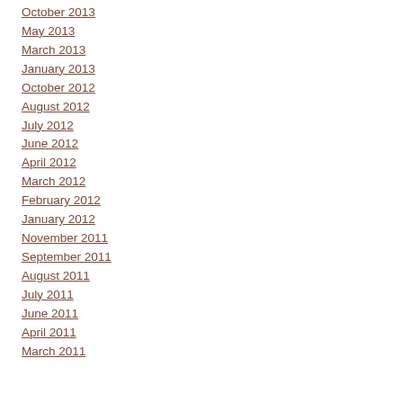October 2013
May 2013
March 2013
January 2013
October 2012
August 2012
July 2012
June 2012
April 2012
March 2012
February 2012
January 2012
November 2011
September 2011
August 2011
July 2011
June 2011
April 2011
March 2011